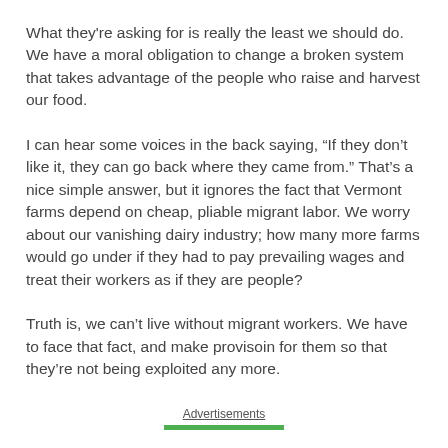What they're asking for is really the least we should do. We have a moral obligation to change a broken system that takes advantage of the people who raise and harvest our food.
I can hear some voices in the back saying, “If they don’t like it, they can go back where they came from.” That’s a nice simple answer, but it ignores the fact that Vermont farms depend on cheap, pliable migrant labor. We worry about our vanishing dairy industry; how many more farms would go under if they had to pay prevailing wages and treat their workers as if they are people?
Truth is, we can’t live without migrant workers. We have to face that fact, and make provisoin for them so that they’re not being exploited any more.
Advertisements